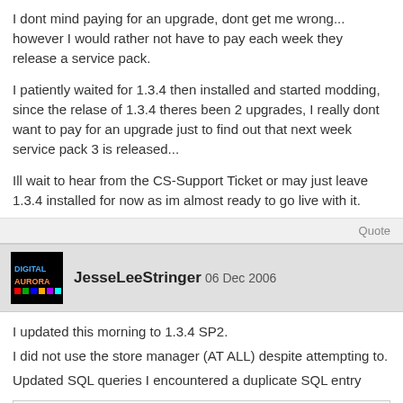I dont mind paying for an upgrade, dont get me wrong... however I would rather not have to pay each week they release a service pack.
I patiently waited for 1.3.4 then installed and started modding, since the relase of 1.3.4 theres been 2 upgrades, I really dont want to pay for an upgrade just to find out that next week service pack 3 is released...
Ill wait to hear from the CS-Support Ticket or may just leave 1.3.4 installed for now as im almost ready to go live with it.
Quote
JesseLeeStringer 06 Dec 2006
I updated this morning to 1.3.4 SP2.
I did not use the store manager (AT ALL) despite attempting to.
Updated SQL queries I encountered a duplicate SQL entry
ALTER TABLE cscart_discounts ADD KEY `cc` (`coupon_code`,
I edited the code and update the SQL database via the 'SQL Query' in PhpMyAdmin.
Then overwrited files. lastly running the post_install.php file